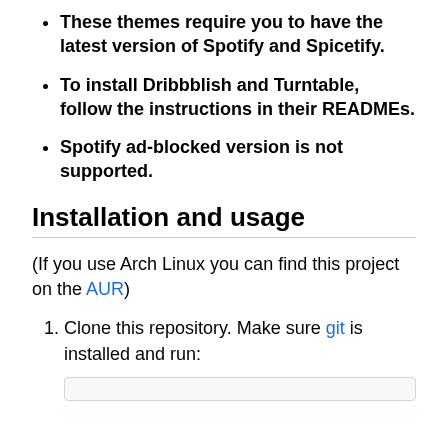These themes require you to have the latest version of Spotify and Spicetify.
To install Dribbblish and Turntable, follow the instructions in their READMEs.
Spotify ad-blocked version is not supported.
Installation and usage
(If you use Arch Linux you can find this project on the AUR)
Clone this repository. Make sure git is installed and run: